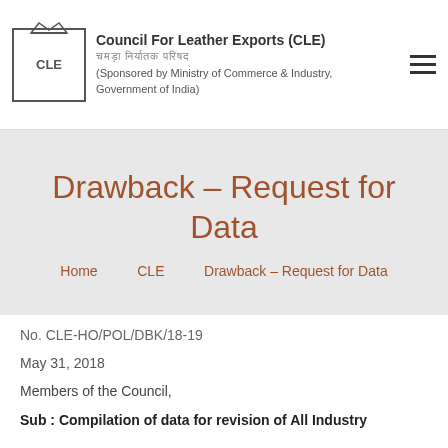Council For Leather Exports (CLE)
(Sponsored by Ministry of Commerce & Industry, Government of India)
Drawback – Request for Data
Home   CLE   Drawback – Request for Data
No. CLE-HO/POL/DBK/18-19
May 31, 2018
Members of the Council,
Sub : Compilation of data for revision of All Industry Rates of Duty Drawback for 2018-19 – Request for data